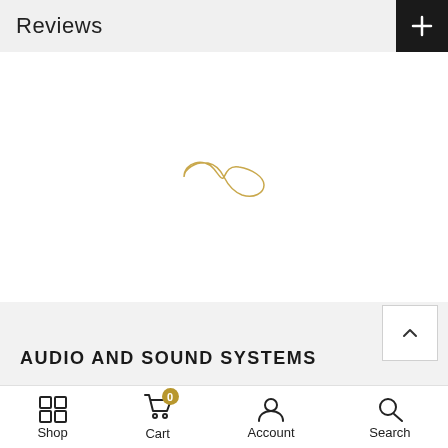Reviews
[Figure (logo): Decorative infinity-like symbol in gold/tan color, a stylized swirl logo]
AUDIO AND SOUND SYSTEMS
- 1 +  ADD TO CART
Shop  Cart (0)  Account  Search